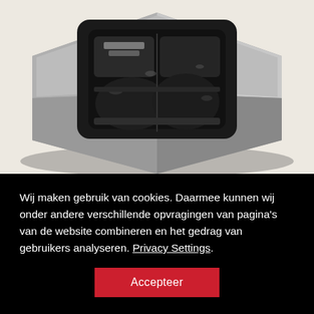[Figure (photo): Close-up top-down view of an automotive sensor or pressure switch with a hexagonal metal body and a black plastic connector housing on top, showing internal metal contacts and terminals.]
Wij maken gebruik van cookies. Daarmee kunnen wij onder andere verschillende opvragingen van pagina's van de website combineren en het gedrag van gebruikers analyseren. Privacy Settings.
Accepteer